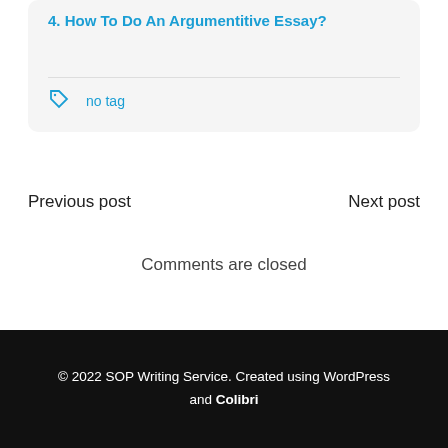4. How To Do An Argumentitive Essay?
no tag
Previous post
Next post
Comments are closed
© 2022 SOP Writing Service. Created using WordPress and Colibri